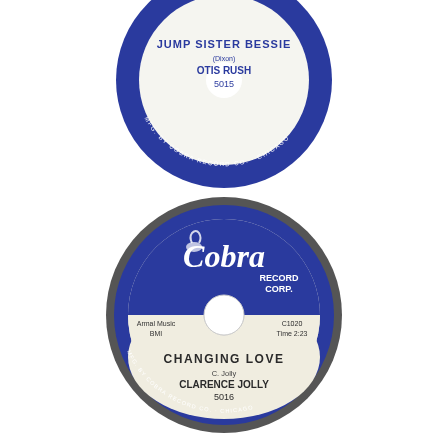[Figure (illustration): Top portion of a Cobra Record Co. 45rpm vinyl record label showing 'JUMP SISTER BESSIE' by Otis Rush, catalog number 5015, blue label with white center, credited to Dixon, MFG. BY COBRA RECORD CO. - CHICAGO printed around the rim]
[Figure (illustration): Full Cobra Record Corp. 45rpm vinyl record label showing 'CHANGING LOVE' by Clarence Jolly, catalog number 5016, C. Jolly credit, Armal Music BMI, C1020, Time 2:23, blue and white label with cobra snake logo, MFG. BY COBRA RECORD CO. - CHICAGO printed around the rim]